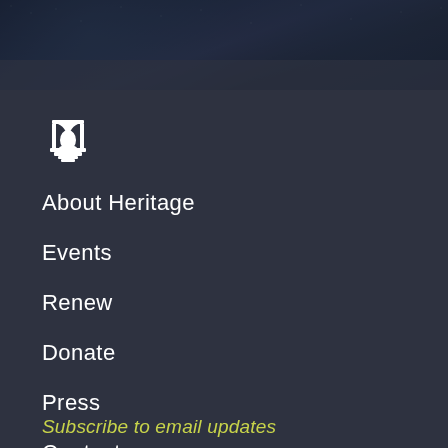[Figure (photo): Dark textured background image at the top of the page with dark blue/navy tones]
[Figure (logo): Heritage Foundation bell tower logo icon in white]
About Heritage
Events
Renew
Donate
Press
Contact
Subscribe to email updates